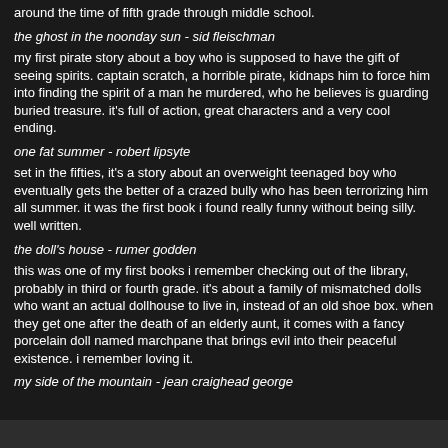around the time of fifth grade through middle school.
the ghost in the noonday sun - sid fleischman
my first pirate story about a boy who is supposed to have the gift of seeing spirits. captain scratch, a horrible pirate, kidnaps him to force him into finding the spirit of a man he murdered, who he believes is guarding buried treasure. it's full of action, great characters and a very cool ending.
one fat summer - robert lipsyte
set in the fifties, it's a story about an overweight teenaged boy who eventually gets the better of a crazed bully who has been terrorizing him all summer. it was the first book i found really funny without being silly. well written.
the doll's house - rumer godden
this was one of my first books i remember checking out of the library, probably in third or fourth grade. it's about a family of mismatched dolls who want an actual dollhouse to live in, instead of an old shoe box. when they get one after the death of an elderly aunt, it comes with a fancy porcelain doll named marchpane that brings evil into their peaceful existence. i remember loving it.
my side of the mountain - jean craighead george